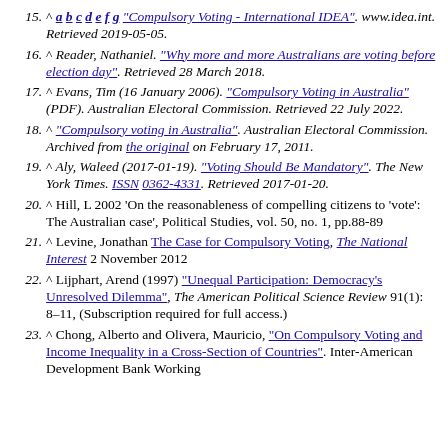15. ^ a b c d e f g "Compulsory Voting - International IDEA". www.idea.int. Retrieved 2019-05-05.
16. ^ Reader, Nathaniel. "Why more and more Australians are voting before election day". Retrieved 28 March 2018.
17. ^ Evans, Tim (16 January 2006). "Compulsory Voting in Australia" (PDF). Australian Electoral Commission. Retrieved 22 July 2022.
18. ^ "Compulsory voting in Australia". Australian Electoral Commission. Archived from the original on February 17, 2011.
19. ^ Aly, Waleed (2017-01-19). "Voting Should Be Mandatory". The New York Times. ISSN 0362-4331. Retrieved 2017-01-20.
20. ^ Hill, L 2002 ‘On the reasonableness of compelling citizens to ‘vote’: The Australian case’, Political Studies, vol. 50, no. 1, pp.88-89
21. ^ Levine, Jonathan The Case for Compulsory Voting, The National Interest 2 November 2012
22. ^ Lijphart, Arend (1997) "Unequal Participation: Democracy’s Unresolved Dilemma", The American Political Science Review 91(1): 8–11, (Subscription required for full access.)
23. ^ Chong, Alberto and Olivera, Mauricio, "On Compulsory Voting and Income Inequality in a Cross-Section of Countries". Inter-American Development Bank Working